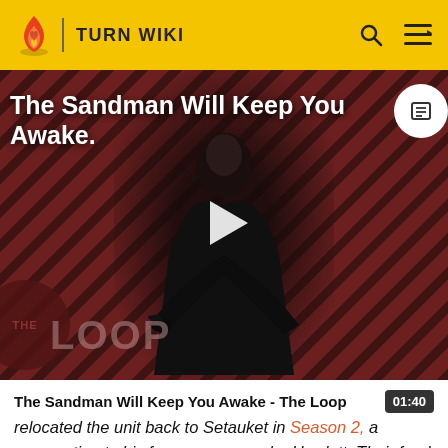TURN WIKI
[Figure (screenshot): Video thumbnail showing a dark-cloaked figure standing against a red and black diagonal-striped background. A play button is overlaid in the center. Text reads 'The Sandman Will Keep You Awake.' in white at the top left. 'THE LOOP' logo appears at the bottom left in dark red tones.]
The Sandman Will Keep You Awake - The Loop
relocated the unit back to Setauket in Season 2, a provocation to his former commander Hewlett. Their feud came out into the open, and Setauket was nearly torn apart by a civil war between rival British forces and